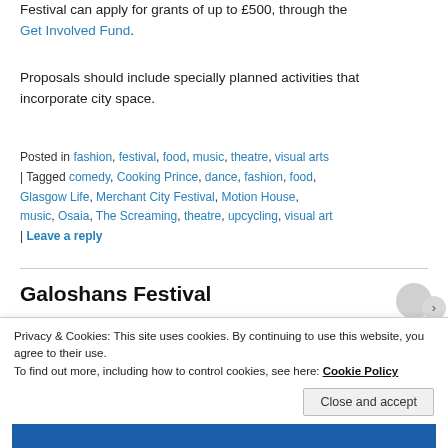Festival can apply for grants of up to £500, through the Get Involved Fund.
Proposals should include specially planned activities that incorporate city space.
Posted in fashion, festival, food, music, theatre, visual arts | Tagged comedy, Cooking Prince, dance, fashion, food, Glasgow Life, Merchant City Festival, Motion House, music, Osaia, The Screaming, theatre, upcycling, visual art | Leave a reply
Galoshans Festival
Privacy & Cookies: This site uses cookies. By continuing to use this website, you agree to their use.
To find out more, including how to control cookies, see here: Cookie Policy